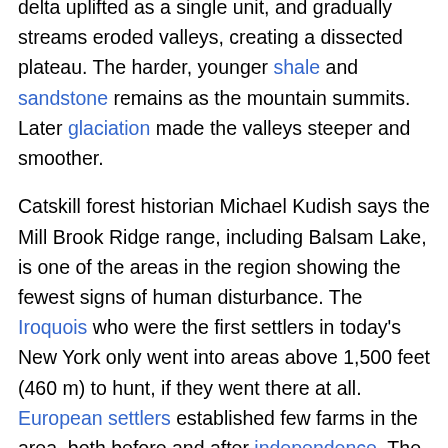delta uplifted as a single unit, and gradually streams eroded valleys, creating a dissected plateau. The harder, younger shale and sandstone remains as the mountain summits. Later glaciation made the valleys steeper and smoother.
Catskill forest historian Michael Kudish says the Mill Brook Ridge range, including Balsam Lake, is one of the areas in the region showing the fewest signs of human disturbance. The Iroquois who were the first settlers in today's New York only went into areas above 1,500 feet (460 m) to hunt, if they went there at all. European settlers established few farms in the area, both before and after independence. The clearings that give the Quaker Clearing trailhead its name are the only significant past agricultural use that can still be seen today. Limited logging, primarily by farmers procuring firewood, took